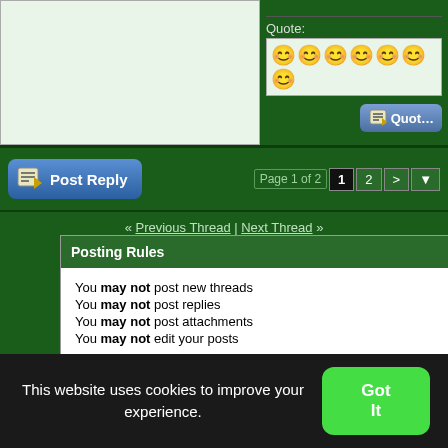[Figure (screenshot): Top section with a light green content area on the left and a Quote box with smileys on the right]
[Figure (screenshot): Post Reply button on the left and pagination showing Page 1 of 2 with page numbers 1, 2, > and dropdown on the right]
« Previous Thread | Next Thread »
Posting Rules
You may not post new threads
You may not post replies
You may not post attachments
You may not edit your posts
BB code is On
Smilies are On
[IMG] code is On
HTML code is Off
Forum Rules
Forum Jump
Code Gallery
This website uses cookies to improve your experience.
Got It